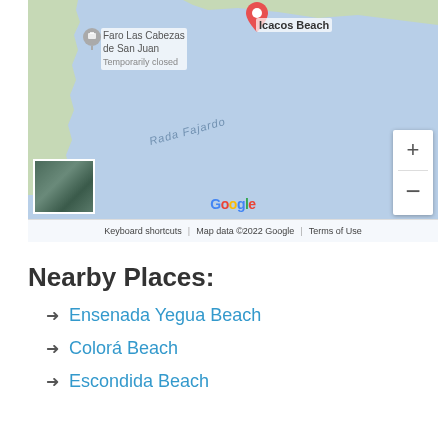[Figure (map): Google Maps screenshot showing Icacos Beach area near Faro Las Cabezas de San Juan (Temporarily closed), with Rada Fajardo water body label, zoom controls, Google logo, and map footer with keyboard shortcuts, map data copyright 2022 Google, and Terms of Use.]
Nearby Places:
Ensenada Yegua Beach
Colorá Beach
Escondida Beach